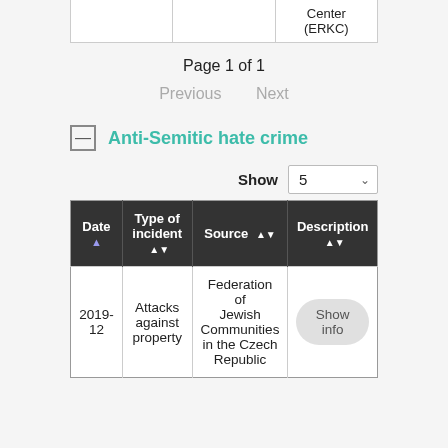|  |  | Center (ERKC) |
| --- | --- | --- |
|  |
Page 1 of 1
Previous   Next
Anti-Semitic hate crime
Show 5
| Date | Type of incident | Source | Description |
| --- | --- | --- | --- |
| 2019-12 | Attacks against property | Federation of Jewish Communities in the Czech Republic | Show info |